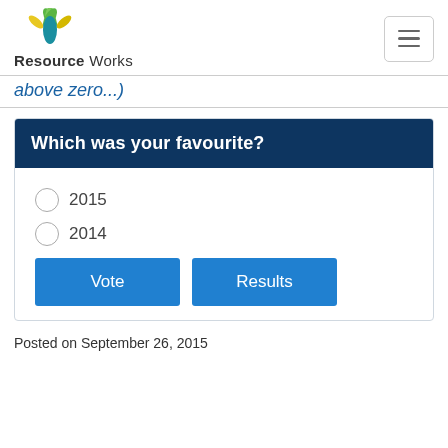Resource Works
(…above zero...)
[Figure (infographic): Poll widget titled 'Which was your favourite?' with two radio options: 2015 and 2014, and two buttons: Vote and Results]
Posted on September 26, 2015